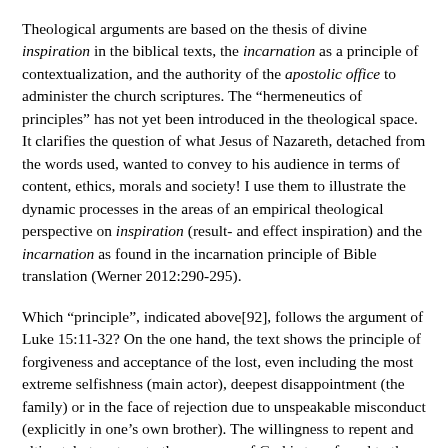Theological arguments are based on the thesis of divine inspiration in the biblical texts, the incarnation as a principle of contextualization, and the authority of the apostolic office to administer the church scriptures. The “hermeneutics of principles” has not yet been introduced in the theological space. It clarifies the question of what Jesus of Nazareth, detached from the words used, wanted to convey to his audience in terms of content, ethics, morals and society! I use them to illustrate the dynamic processes in the areas of an empirical theological perspective on inspiration (result- and effect inspiration) and the incarnation as found in the incarnation principle of Bible translation (Werner 2012:290-295).
Which “principle”, indicated above[92], follows the argument of Luke 15:11-32? On the one hand, the text shows the principle of forgiveness and acceptance of the lost, even including the most extreme selfishness (main actor), deepest disappointment (the family) or in the face of rejection due to unspeakable misconduct (explicitly in one’s own brother). The willingness to repent and ultimately to return to the presence of God is transferred to the spiritual realm. This principle guides the translator mentally during